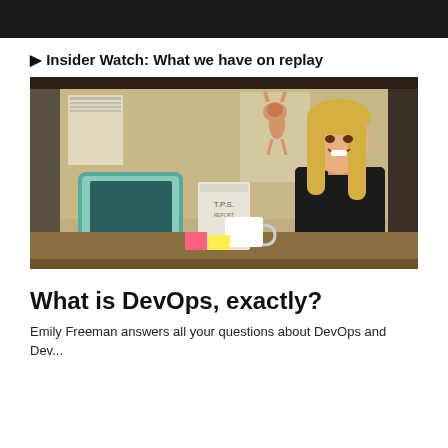▶ Insider Watch: What we have on replay
[Figure (photo): Woman with blonde hair smiling at desk with old iMac computer, a TPS report folder, a coffee mug, sticky notes, and a cat poster on cubicle wall behind her]
What is DevOps, exactly?
Emily Freeman answers all your questions about DevOps and Dev...